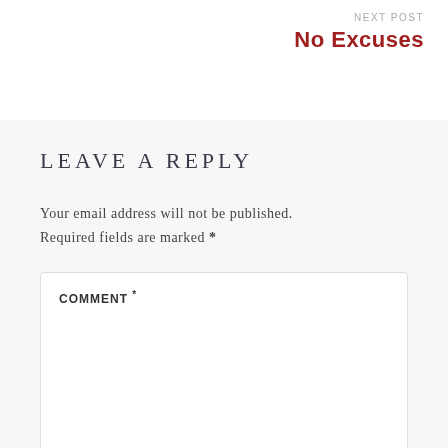NEXT POST
No Excuses
LEAVE A REPLY
Your email address will not be published. Required fields are marked *
COMMENT *